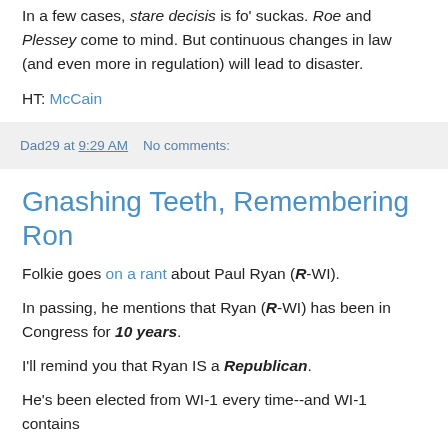In a few cases, stare decisis is fo' suckas. Roe and Plessey come to mind. But continuous changes in law (and even more in regulation) will lead to disaster.
HT: McCain
Dad29 at 9:29 AM    No comments:
Gnashing Teeth, Remembering Ron
Folkie goes on a rant about Paul Ryan (R-WI).
In passing, he mentions that Ryan (R-WI) has been in Congress for 10 years.
I'll remind you that Ryan IS a Republican.
He's been elected from WI-1 every time--and WI-1 contains